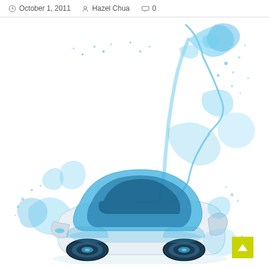October 1, 2011  Hazel Chua  0
[Figure (illustration): A futuristic blue transparent concept car surrounded by dramatic water splashes, including a large water splash shaped like a rearing horse in the upper right. The car body is translucent blue with white chassis and stylized wheels. Background is white.]